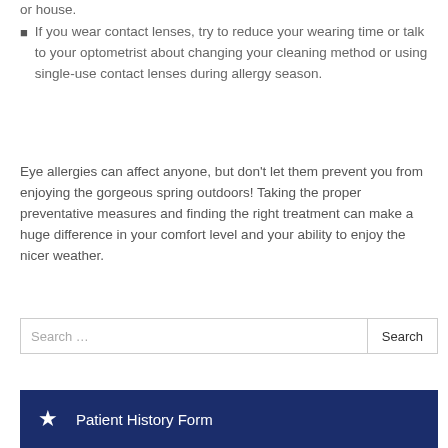If you wear contact lenses, try to reduce your wearing time or talk to your optometrist about changing your cleaning method or using single-use contact lenses during allergy season.
Eye allergies can affect anyone, but don't let them prevent you from enjoying the gorgeous spring outdoors! Taking the proper preventative measures and finding the right treatment can make a huge difference in your comfort level and your ability to enjoy the nicer weather.
Search … Search
Patient History Form